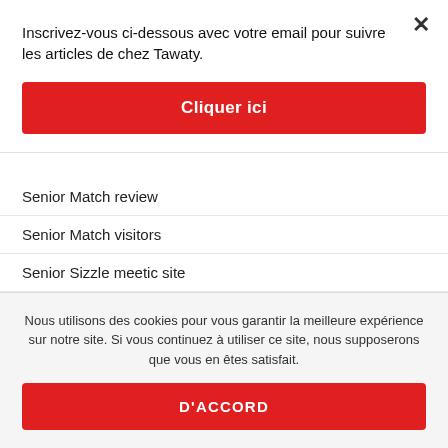Inscrivez-vous ci-dessous avec votre email pour suivre les articles de chez Tawaty.
Cliquer ici
Senior Match review
Senior Match visitors
Senior Sizzle meetic site
senior sizzle Supprimer le compte
Nous utilisons des cookies pour vous garantir la meilleure expérience sur notre site. Si vous continuez à utiliser ce site, nous supposerons que vous en êtes satisfait.
D'ACCORD